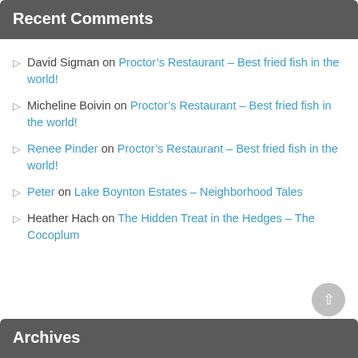Recent Comments
David Sigman on Proctor’s Restaurant – Best fried fish in the world!
Micheline Boivin on Proctor’s Restaurant – Best fried fish in the world!
Renee Pinder on Proctor’s Restaurant – Best fried fish in the world!
Peter on Lake Boynton Estates – Neighborhood Tales
Heather Hach on The Hidden Treat in the Hedges – The Cocoplum
Archives